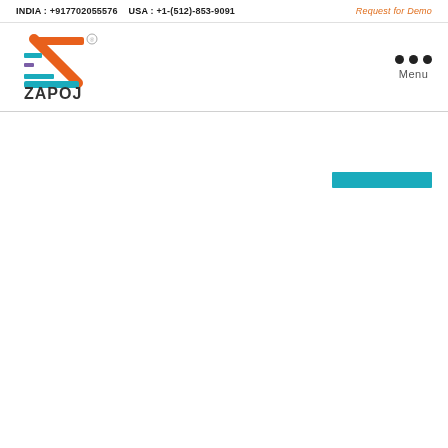INDIA : +917702055576   USA : +1-(512)-853-9091   Request for Demo
[Figure (logo): ZAPOJ company logo with orange and teal colored geometric Z shape and horizontal bars, with registered trademark symbol and ZAPOJ text below]
Menu
[Figure (other): Teal/cyan colored horizontal bar element]